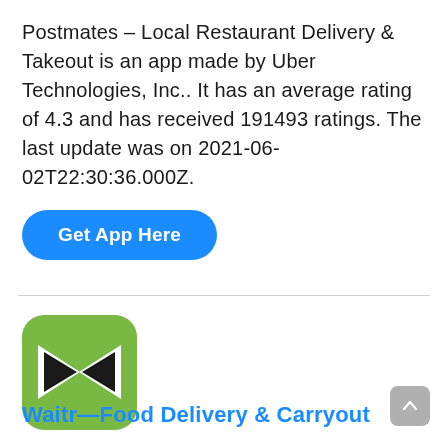Postmates – Local Restaurant Delivery & Takeout is an app made by Uber Technologies, Inc.. It has an average rating of 4.3 and has received 191493 ratings. The last update was on 2021-06-02T22:30:36.000Z.
Get App Here
[Figure (logo): Waitr app logo: green rounded square with a white-outlined black bow-tie/bowtie shape in the center]
Waitr—Food Delivery & Carryout